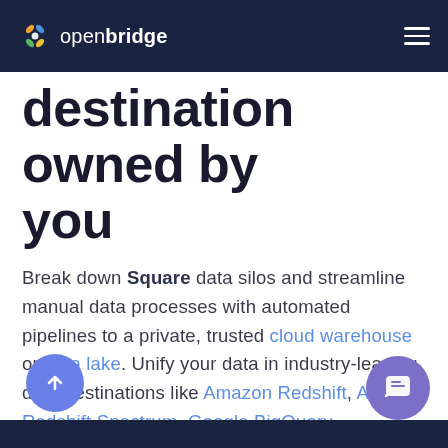openbridge
destination owned by you
Break down Square data silos and streamline manual data processes with automated pipelines to a private, trusted cloud warehouse or data lake. Unify your data in industry-leading data destinations like Amazon Redshift, Amazon Redshift Spectrum, Google BigQuery, Snowflake, Azure Data Lake, Ahana, and Amazon Athena.